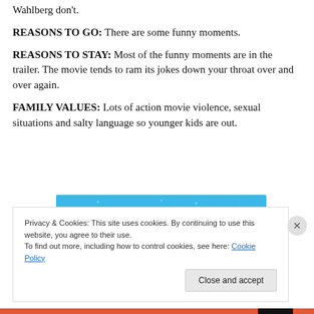Wahlberg don't.
REASONS TO GO: There are some funny moments.
REASONS TO STAY: Most of the funny moments are in the trailer. The movie tends to ram its jokes down your throat over and over again.
FAMILY VALUES: Lots of action movie violence, sexual situations and salty language so younger kids are out.
[Figure (screenshot): Blue advertisement banner reading 'The only journaling app you'll ever need.']
Privacy & Cookies: This site uses cookies. By continuing to use this website, you agree to their use.
To find out more, including how to control cookies, see here: Cookie Policy
Close and accept